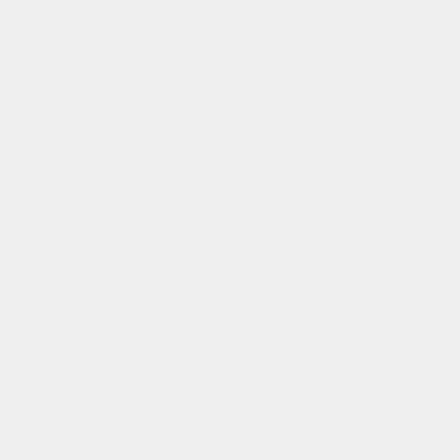GTC): GGUS:701 [external link]. Since no reaction within 20 minutes and given the emergency, CRC called 75011 around 00:20 (PHY DB piquet phone